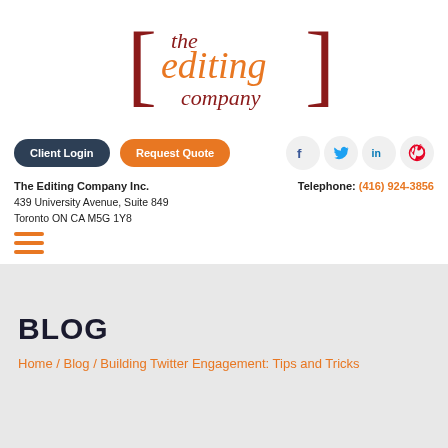[Figure (logo): The Editing Company logo with bracket design, orange and dark red text]
[Figure (infographic): Navigation buttons: Client Login (dark blue) and Request Quote (orange), and social media icons for Facebook, Twitter, LinkedIn, Pinterest]
The Editing Company Inc.
439 University Avenue, Suite 849
Toronto ON CA M5G 1Y8
Telephone: (416) 924-3856
[Figure (other): Hamburger menu icon (three orange horizontal lines)]
BLOG
Home / Blog / Building Twitter Engagement: Tips and Tricks